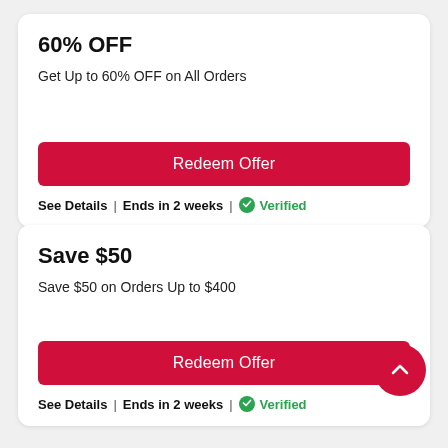60% OFF
Get Up to 60% OFF on All Orders
Redeem Offer
See Details | Ends in 2 weeks | ✅Verified
Save $50
Save $50 on Orders Up to $400
Redeem Offer
See Details | Ends in 2 weeks | ✅Verified